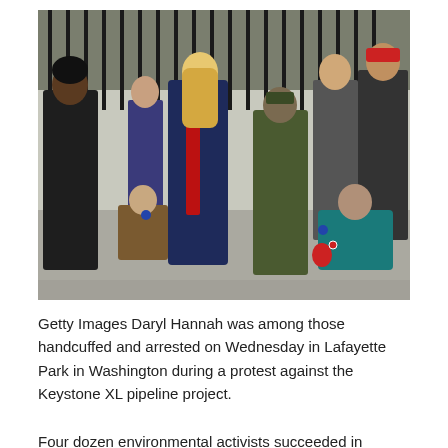[Figure (photo): Outdoor protest scene near a black iron fence. A law enforcement officer in dark uniform stands on the left. A tall blonde woman in a long navy coat and red scarf stands prominently in the center. Another officer in green tactical gear stands nearby. In the background, a crowd of protesters, some wearing blue buttons/badges, some seated on the ground. A woman in a teal jacket with protest badges sits on the right. Several people wear red hats. The setting appears to be Lafayette Park in Washington.]
Getty Images Daryl Hannah was among those handcuffed and arrested on Wednesday in Lafayette Park in Washington during a protest against the Keystone XL pipeline project.
Four dozen environmental activists succeeded in getting